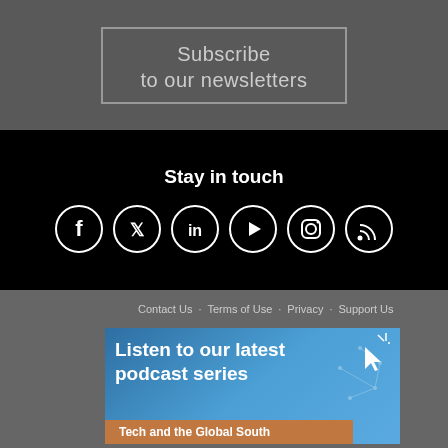Subscribe
to our newsletters
Stay in touch
[Figure (infographic): Six social media icons in white circles on black background: Facebook, Twitter, LinkedIn, YouTube, Instagram, RSS]
Contact Us · Terms of Use · Privacy · Support Us
Listen to our latest podcast series
Tech and the Global South